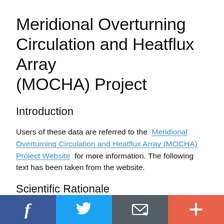Meridional Overturning Circulation and Heatflux Array (MOCHA) Project
Introduction
Users of these data are referred to the Meridional Overturning Circulation and Heatflux Array (MOCHA) Project Website for more information. The following text has been taken from the website.
Scientific Rationale